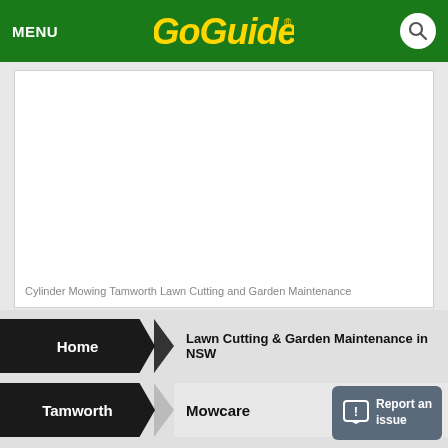MENU  GoGuide
[Figure (photo): White/blank image area for Cylinder Mowing Tamworth Lawn Cutting and Garden Maintenance]
Cylinder Mowing Tamworth Lawn Cutting and Garden Maintenance
Home > Lawn Cutting & Garden Maintenance in NSW
Tamworth > Mowcare
Report an issue